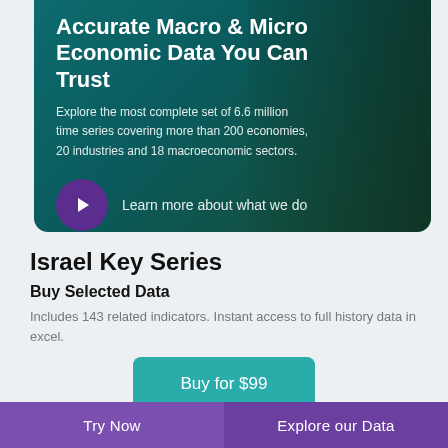[Figure (photo): Hero banner with teal/dark green gradient overlay on a photo of a person in a corridor, contains title, description text, and play button]
Accurate Macro & Micro Economic Data You Can Trust
Explore the most complete set of 6.6 million time series covering more than 200 economies, 20 industries and 18 macroeconomic sectors.
Learn more about what we do
Israel Key Series
Buy Selected Data
Includes 143 related indicators. Instant access to full history data in excel.
Buy for $99
Try Now   Explore our Data